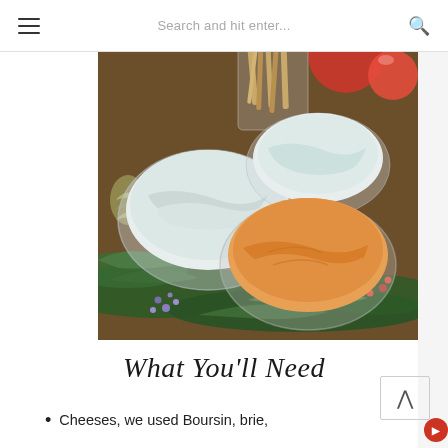☰  Search and hit enter...  🔍
[Figure (photo): Three glass bowls of dips/spreads arranged on a Christmas-decorated table with evergreen branches, red berries, a pomegranate, breadsticks in a glass, and holiday ornaments. The bowls contain a mushroom/onion dip, a white creamy dip, and an orange cheese dip.]
What You'll Need
Cheeses, we used Boursin, brie,